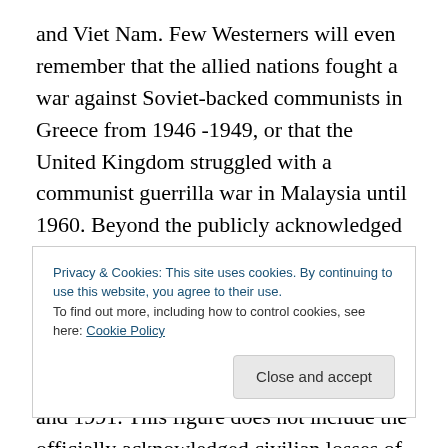and Viet Nam. Few Westerners will even remember that the allied nations fought a war against Soviet-backed communists in Greece from 1946 -1949, or that the United Kingdom struggled with a communist guerrilla war in Malaysia until 1960. Beyond the publicly acknowledged battle fields in Korea, South East Asia, Lebanon, Grenada, and Panama, the United States thus far acknowledges 382 American servicemen killed in combat against communist forces between 1945 and 1991. This figure does not include the officially acknowledged civilian losses of the CIA and other civilian personnel, nor does it include
Privacy & Cookies: This site uses cookies. By continuing to use this website, you agree to their use.
To find out more, including how to control cookies, see here: Cookie Policy
Close and accept